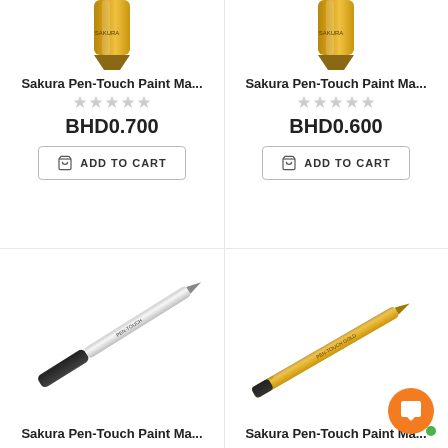[Figure (photo): Sakura Pen-Touch paint marker, gold/metallic color, partial view of top of pen]
Sakura Pen-Touch Paint Ma...
BHD0.700
ADD TO CART
[Figure (photo): Sakura Pen-Touch paint marker, second product, partial view]
Sakura Pen-Touch Paint Ma...
BHD0.600
ADD TO CART
[Figure (photo): Sakura Pen-Touch paint marker, black cap, diagonal orientation]
Sakura Pen-Touch Paint Ma...
[Figure (photo): Sakura Pen-Touch paint marker, gold color, diagonal orientation]
Sakura Pen-Touch Paint Ma...